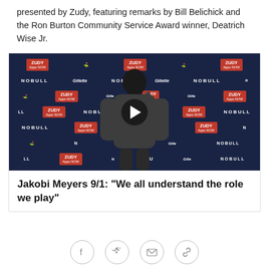presented by Zudy, featuring remarks by Bill Belichick and the Ron Burton Community Service Award winner, Deatrich Wise Jr.
[Figure (screenshot): Video thumbnail showing a New England Patriots player (Jakobi Meyers) at a press conference podium with a ZUDY Apps NOW and NOBULL branded backdrop, with a play button overlay.]
Jakobi Meyers 9/1: "We all understand the role we play"
[Figure (infographic): Social sharing icons: Facebook, Twitter, Email, Link]